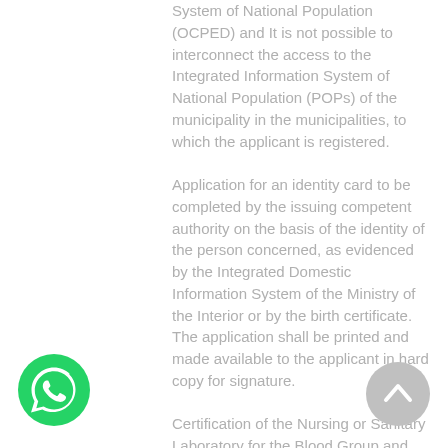System of National Population (OCPED) and It is not possible to interconnect the access to the Integrated Information System of National Population (POPs) of the municipality in the municipalities, to which the applicant is registered.
Application for an identity card to be completed by the issuing competent authority on the basis of the identity of the person concerned, as evidenced by the Integrated Domestic Information System of the Ministry of the Interior or by the birth certificate. The application shall be printed and made available to the applicant in hard copy for signature.
Certification of the Nursing or Sanitary Laboratory for the Blood Group and RHESUS (if you wish to be listed on your card).
A travel document or any other document of a domestic or foreign authority that gives the
[Figure (illustration): WhatsApp logo icon - green circle with white phone handset]
[Figure (illustration): Gray circular scroll-to-top button with upward arrow]